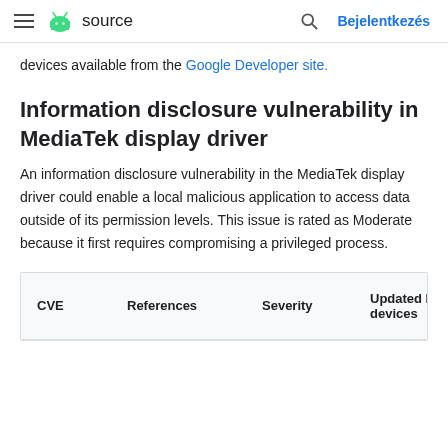≡ Android source  🔍 Bejelentkezés
devices available from the Google Developer site.
Information disclosure vulnerability in MediaTek display driver
An information disclosure vulnerability in the MediaTek display driver could enable a local malicious application to access data outside of its permission levels. This issue is rated as Moderate because it first requires compromising a privileged process.
| CVE | References | Severity | Updated Nexus devices | Date repo |
| --- | --- | --- | --- | --- |